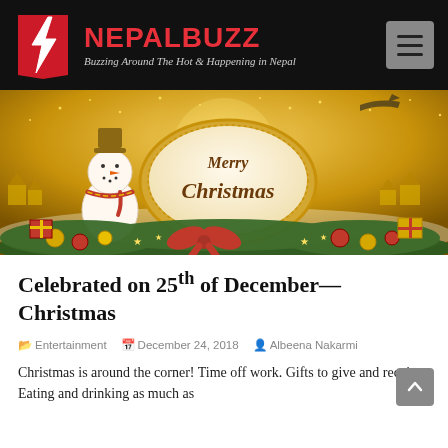NEPALBUZZ — Buzzing Around The Hot & Happening in Nepal
[Figure (illustration): Merry Christmas festive illustration with a snowman, gifts, ornaments, stars, and a large 'Merry Christmas' text in an oval on a golden background with pine branches and a red bow.]
Celebrated on 25th of December—Christmas
Entertainment   December 24, 2018   Albeena Nakarmi
Christmas is around the corner! Time off work. Gifts to give and receive. Eating and drinking as much as